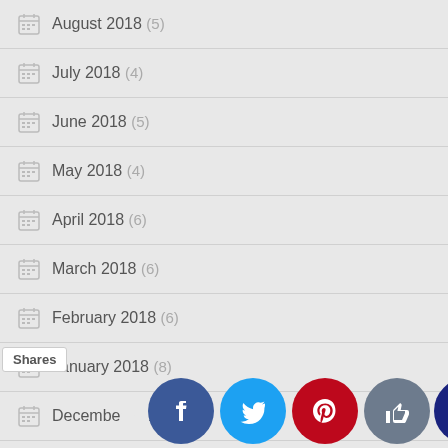August 2018 (5)
July 2018 (4)
June 2018 (5)
May 2018 (4)
April 2018 (6)
March 2018 (6)
February 2018 (6)
January 2018 (8)
December 2017 (6)
November 2017 (7)